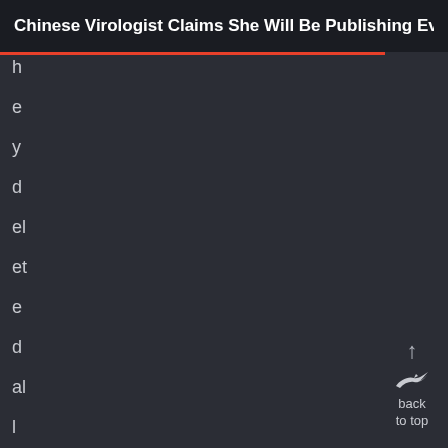Chinese Virologist Claims She Will Be Publishing Evide…
h
e
y
d
el
et
e
d
al
l
m
y
in
[Figure (illustration): Back to top button with upward arrow and bird/raven icon, with text 'back to top']